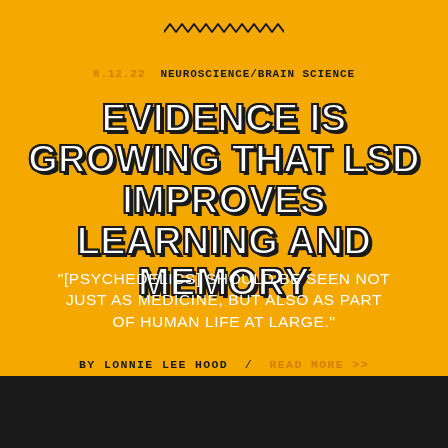[Figure (other): Wavy/zigzag decorative line at top center of page]
8.12.22 NEUROSCIENCE/BRAIN SCIENCE
EVIDENCE IS GROWING THAT LSD IMPROVES LEARNING AND MEMORY
"[PSYCHEDELICS] SHOULD BE SEEN NOT JUST AS MEDICINE, BUT ALSO AS PART OF HUMAN LIFE AT LARGE."
BY LONNIE LEE HOOD / READ MORE >>